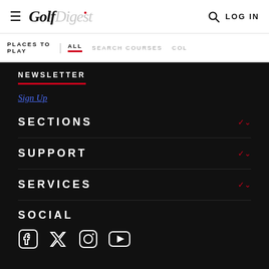Golf Digest — LOG IN
PLACES TO PLAY | ALL  SEARCH COURSES  COL
NEWSLETTER
Sign Up
SECTIONS
SUPPORT
SERVICES
SOCIAL
[Figure (other): Social media icons: Facebook, Twitter, Instagram, YouTube]